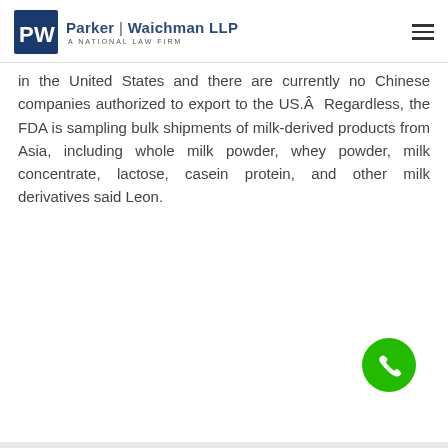Parker | Waichman LLP — A National Law Firm
in the United States and there are currently no Chinese companies authorized to export to the US.Â  Regardless, the FDA is sampling bulk shipments of milk-derived products from Asia, including whole milk powder, whey powder, milk concentrate, lactose, casein protein, and other milk derivatives said Leon.